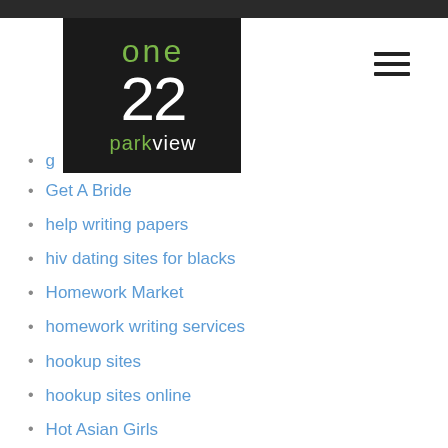[Figure (logo): One 22 Parkview logo — black background with green 'one', white '22', and 'park' in green with 'view' in white]
g
Get A Bride
help writing papers
hiv dating sites for blacks
Homework Market
homework writing services
hookup sites
hookup sites online
Hot Asian Girls
hot chinese women
hot indian wife